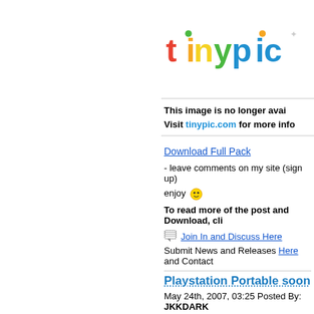[Figure (screenshot): TinyPic logo and 'This image is no longer available' banner with link to tinypic.com]
Download Full Pack
- leave comments on my site (sign up)
enjoy 😊
To read more of the post and Download, cli
Join In and Discuss Here
Submit News and Releases Here and Contact
Playstation Portable soon
May 24th, 2007, 03:25 Posted By: JKKDARK
via Playstatic
In a strange turn of events, well, an ambitious